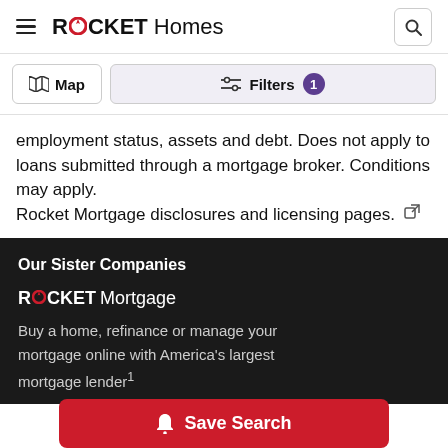ROCKET Homes
Map | Filters 1
employment status, assets and debt. Does not apply to loans submitted through a mortgage broker. Conditions may apply.
Rocket Mortgage disclosures and licensing pages.
Our Sister Companies
ROCKET Mortgage
Buy a home, refinance or manage your mortgage online with America's largest mortgage lender¹
Save Search